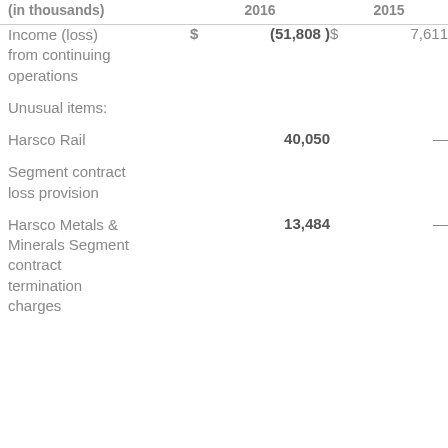| (in thousands) | 2016 |  | 2015 |  |
| --- | --- | --- | --- | --- |
| Income (loss) from continuing operations | $ | (51,808) | $ | 7,611 |
| Unusual items: |  |  |  |  |
| Harsco Rail |  | 40,050 |  | — |
| Segment contract loss provision |  |  |  |  |
| Harsco Metals & Minerals Segment contract termination charges |  | 13,484 |  | — |